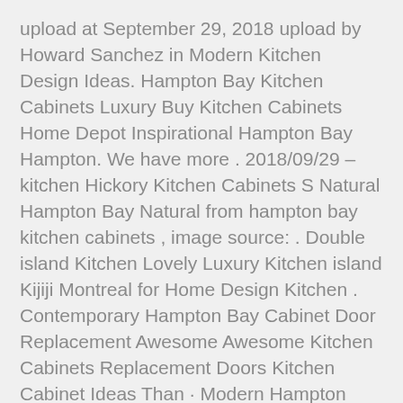upload at September 29, 2018 upload by Howard Sanchez in Modern Kitchen Design Ideas. Hampton Bay Kitchen Cabinets Luxury Buy Kitchen Cabinets Home Depot Inspirational Hampton Bay Hampton. We have more . 2018/09/29 – kitchen Hickory Kitchen Cabinets S Natural Hampton Bay Natural from hampton bay kitchen cabinets , image source: . Double island Kitchen Lovely Luxury Kitchen island Kijiji Montreal for Home Design Kitchen . Contemporary Hampton Bay Cabinet Door Replacement Awesome Awesome Kitchen Cabinets Replacement Doors Kitchen Cabinet Ideas Than · Modern Hampton Bay Cabinet Door Replacement Luxury Hampton Bay Linen Cabinet Linen . Creative use of Wall Cabinets using Hampton Bay Cabinet line at The Home